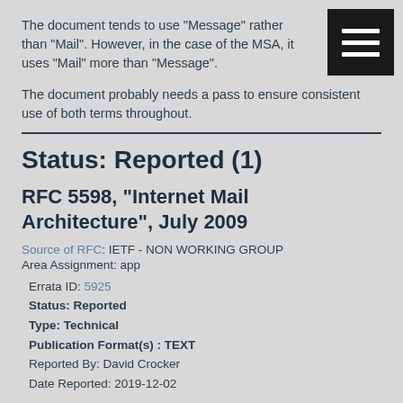The document tends to use "Message" rather than "Mail". However, in the case of the MSA, it uses "Mail" more than "Message".
The document probably needs a pass to ensure consistent use of both terms throughout.
Status: Reported (1)
RFC 5598, "Internet Mail Architecture", July 2009
Source of RFC: IETF - NON WORKING GROUP
Area Assignment: app
Errata ID: 5925
Status: Reported
Type: Technical
Publication Format(s) : TEXT
Reported By: David Crocker
Date Reported: 2019-12-02